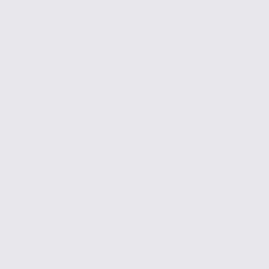[partial top comment with avatar] San... at le... also... cou... Oth... 2 m...
− aquatorrent
as long as you show... taken on their side a...
2 months ago  Permal...
− crocospect
To make a matter w... giveaway page to m... I had this problem o... enough and made a... Since then i decide... Simple slap and do...